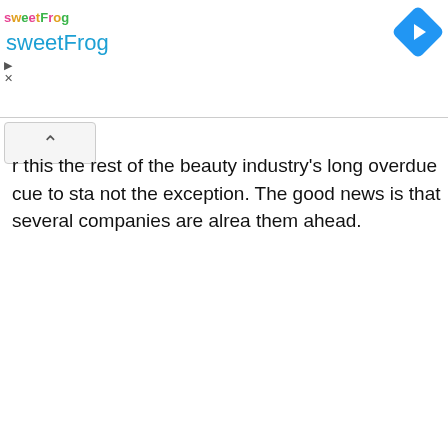[Figure (screenshot): sweetFrog advertisement banner with logo, brand name in cyan/teal color, and a blue diamond-shaped navigation arrow icon in the top right corner. Small play and close control icons on the left side.]
r this the rest of the beauty industry’s long overdue cue to sta not the exception. The good news is that several companies are alrea them ahead.